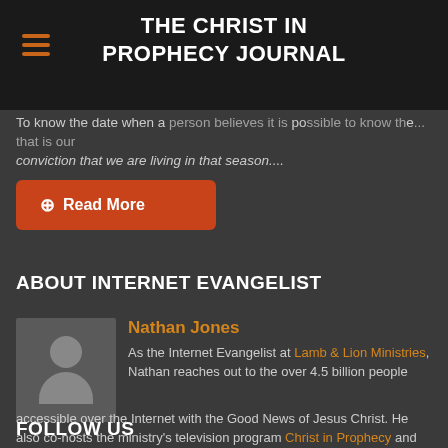THE CHRIST IN PROPHECY JOURNAL
To know the date when a person believes it is possible to know the ... that is our conviction that we are living in that season....
Read More
ABOUT INTERNET EVANGELIST
Nathan Jones
As the Internet Evangelist at Lamb & Lion Ministries, Nathan reaches out to the over 4.5 billion people accessible over the Internet with the Good News of Jesus Christ. He also co-hosts the ministry's television program Christ in Prophecy and podcast The Truth Will Set You Free.
FOLLOW US